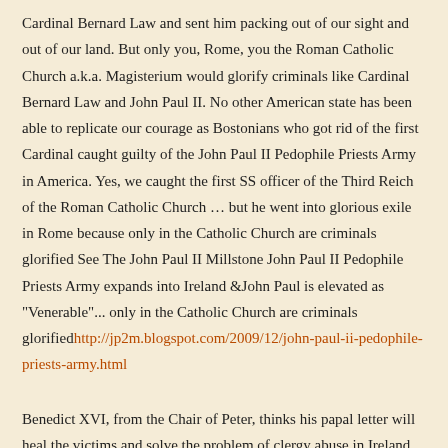Cardinal Bernard Law and sent him packing out of our sight and out of our land. But only you, Rome, you the Roman Catholic Church a.k.a. Magisterium would glorify criminals like Cardinal Bernard Law and John Paul II. No other American state has been able to replicate our courage as Bostonians who got rid of the first Cardinal caught guilty of the John Paul II Pedophile Priests Army in America. Yes, we caught the first SS officer of the Third Reich of the Roman Catholic Church … but he went into glorious exile in Rome because only in the Catholic Church are criminals glorified See The John Paul II Millstone John Paul II Pedophile Priests Army expands into Ireland &John Paul is elevated as "Venerable"... only in the Catholic Church are criminals glorifiedhttp://jp2m.blogspot.com/2009/12/john-paul-ii-pedophile-priests-army.html
Benedict XVI, from the Chair of Peter, thinks his papal letter will heal the victims and solve the problem of clergy abuse in Ireland. The fact is, Benedict XVI's words are powerless. NO POPE has ever healed anyone. As this picture shows,